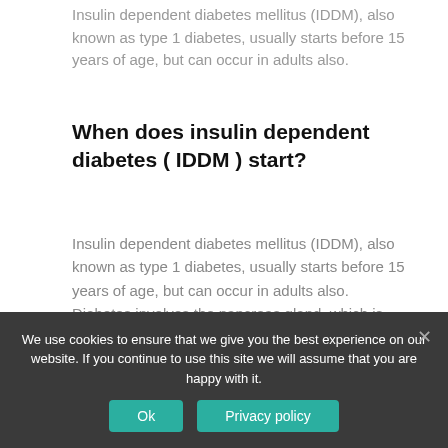Insulin dependent diabetes mellitus (IDDM), also known as type 1 diabetes, usually starts before 15 years of age, but can occur in adults also.
When does insulin dependent diabetes ( IDDM ) start?
Insulin dependent diabetes mellitus (IDDM), also known as type 1 diabetes, usually starts before 15 years of age, but can occur in adults also. Diabetes involves the pancreas gland, which is located behind the stomach (Picture 1).
[Figure (photo): Partial view of a medical image showing a dark background with partial circular element, likely related to the pancreas or digestive anatomy.]
We use cookies to ensure that we give you the best experience on our website. If you continue to use this site we will assume that you are happy with it.